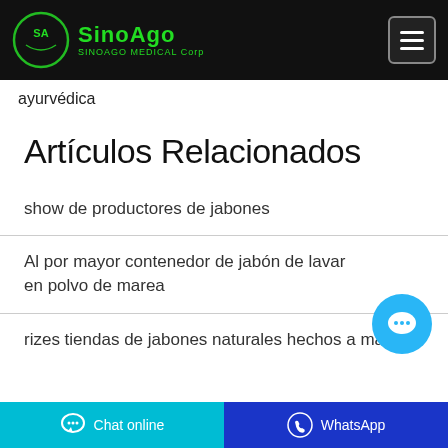SINOAGO MEDICAL Corp
ayurvédica
Artículos Relacionados
show de productores de jabones
Al por mayor contenedor de jabón de lavar en polvo de marea
rizes tiendas de jabones naturales hechos a mano
Chat online  WhatsApp